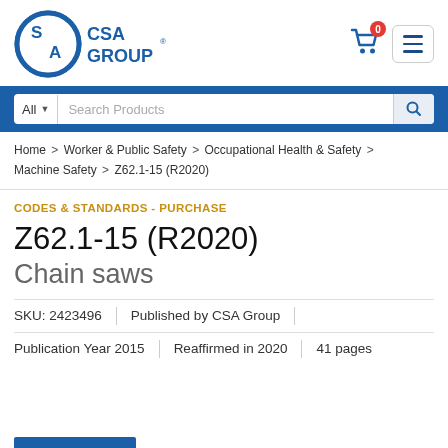[Figure (logo): CSA Group logo — circular emblem with 'SA' letters in blue and 'CSA GROUP' text in bold blue to the right]
CSA Group website header with search bar, shopping cart (0 items), and menu button
Home > Worker & Public Safety > Occupational Health & Safety > Machine Safety > Z62.1-15 (R2020)
CODES & STANDARDS - PURCHASE
Z62.1-15 (R2020)
Chain saws
SKU: 2423496 | Published by CSA Group
Publication Year 2015 | Reaffirmed in 2020 | 41 pages